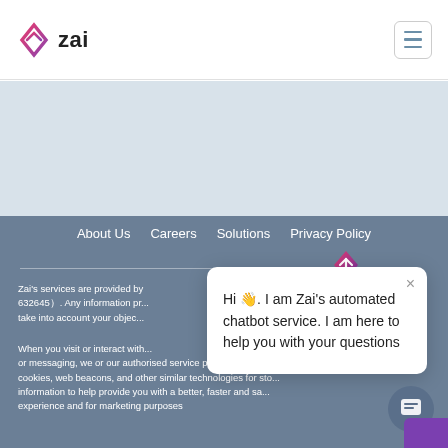Zai
[Figure (logo): Zai logo with diamond/arrow icon in pink/red gradient and text 'zai']
About Us   Careers   Solutions   Privacy Policy
Zai's services are provided by (632645).  Any information pr... take into account your objec...
When you visit or interact with... or messaging, we or our authorised service providers may use cookies, web beacons, and other similar technologies for sto... information to help provide you with a better, faster and sa... experience and for marketing purposes
[Figure (screenshot): Chatbot popup with Zai logo at top, close button X, text: Hi 👋. I am Zai's automated chatbot service. I am here to help you with your questions]